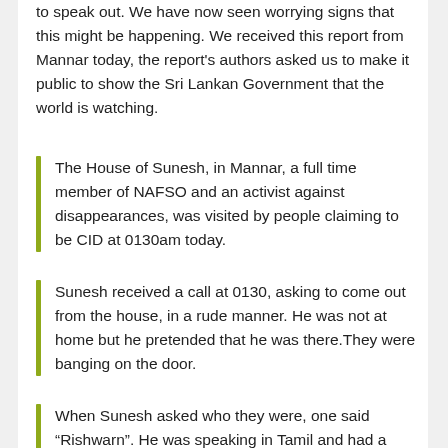to speak out. We have now seen worrying signs that this might be happening. We received this report from Mannar today, the report's authors asked us to make it public to show the Sri Lankan Government that the world is watching.
The House of Sunesh, in Mannar, a full time member of NAFSO and an activist against disappearances, was visited by people claiming to be CID at 0130am today.
Sunesh received a call at 0130, asking to come out from the house, in a rude manner. He was not at home but he pretended that he was there.They were banging on the door.
When Sunesh asked who they were, one said "Rishwarn". He was speaking in Tamil and had a Sinhala accent.
They said “you went with Fr. Sebamalei, Fr. Neru, and Sahayam campaigning against the